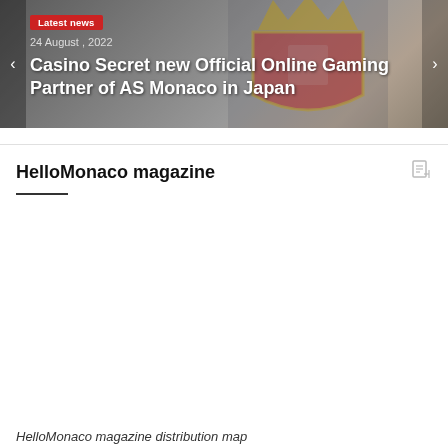[Figure (photo): AS Monaco crest on a flag, grey/gold/red colors, hero banner background]
Latest news
24 August , 2022
Casino Secret new Official Online Gaming Partner of AS Monaco in Japan
HelloMonaco magazine
HelloMonaco magazine distribution map